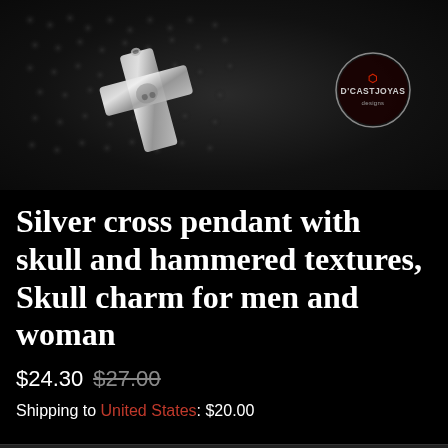[Figure (photo): Dark background photo of a silver cross pendant with hammered and skull texture, with D'CASTJOYAS designs logo circle in upper right]
Silver cross pendant with skull and hammered textures, Skull charm for men and woman
$24.30 $27.00
Shipping to United States: $20.00